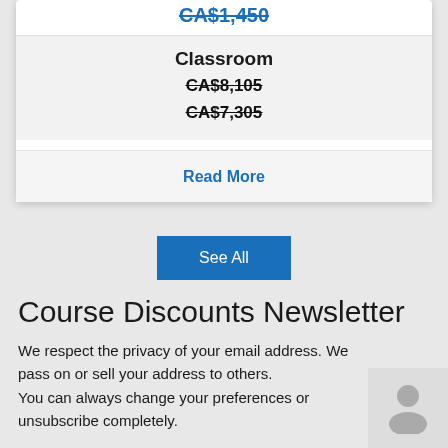CA$1,450 (strikethrough, blue, top price row)
Classroom
CA$8,105
CA$7,305
Read More
See All
Course Discounts Newsletter
We respect the privacy of your email address. We pass on or sell your address to others.
You can always change your preferences or unsubscribe completely.